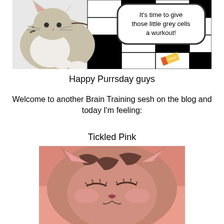[Figure (illustration): A cat sitting on a crossword puzzle grid with a speech bubble saying 'It's time to give those little grey cells a wurkout!' and a small eraser visible on the grid.]
Happy Purrsday guys
Welcome to another Brain Training sesh on the blog and today I'm feeling:
Tickled Pink
[Figure (photo): Close-up photo of a cat's face resting on a pink surface, eyes closed, with a pinkish tint to the image — illustrating 'Tickled Pink'.]